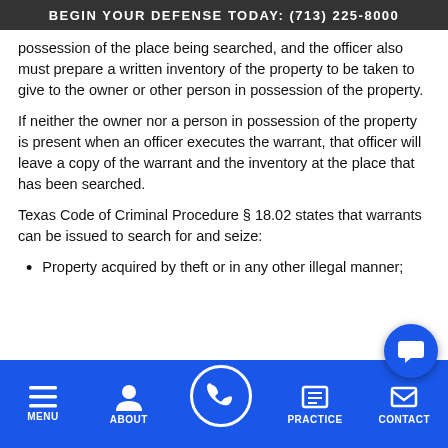BEGIN YOUR DEFENSE TODAY: (713) 225-8000
possession of the place being searched, and the officer also must prepare a written inventory of the property to be taken to give to the owner or other person in possession of the property.
If neither the owner nor a person in possession of the property is present when an officer executes the warrant, that officer will leave a copy of the warrant and the inventory at the place that has been searched.
Texas Code of Criminal Procedure § 18.02 states that warrants can be issued to search for and seize:
Property acquired by theft or in any other illegal manner;
MENU  ABOUT  PRACTICE  CONTACT